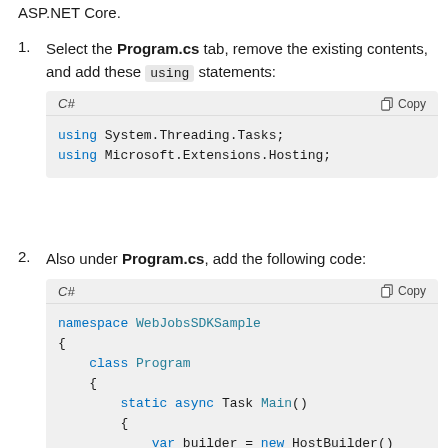ASP.NET Core.
Select the Program.cs tab, remove the existing contents, and add these using statements:
[Figure (screenshot): C# code block with using statements: using System.Threading.Tasks; using Microsoft.Extensions.Hosting;]
Also under Program.cs, add the following code:
[Figure (screenshot): C# code block with namespace WebJobsSDKSample { class Program { static async Task Main() { var builder = new HostBuilder()]